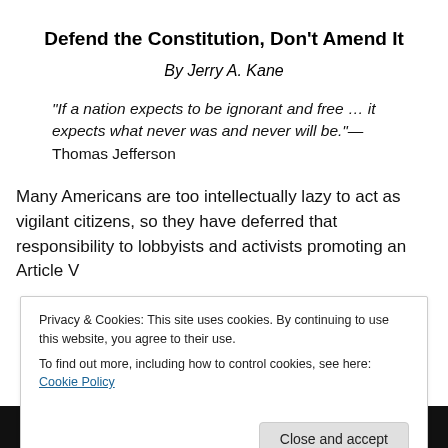Defend the Constitution, Don't Amend It
By Jerry A. Kane
“If a nation expects to be ignorant and free … it expects what never was and never will be.”— Thomas Jefferson
Many Americans are too intellectually lazy to act as vigilant citizens, so they have deferred that responsibility to lobbyists and activists promoting an Article V
Privacy & Cookies: This site uses cookies. By continuing to use this website, you agree to their use.
To find out more, including how to control cookies, see here: Cookie Policy
[Figure (photo): Strip of photos showing faces of several people at the bottom of the page]